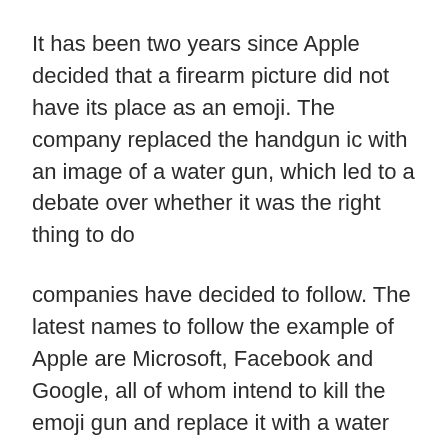It has been two years since Apple decided that a firearm picture did not have its place as an emoji. The company replaced the handgun ic with an image of a water gun, which led to a debate over whether it was the right thing to do
companies have decided to follow. The latest names to follow the example of Apple are Microsoft, Facebook and Google, all of whom intend to kill the emoji gun and replace it with a water gun
See also:
update for Android this week that will replace his gun emoji, and Facebook has also cfirmed that he plans to do the same. It is unclear when the social